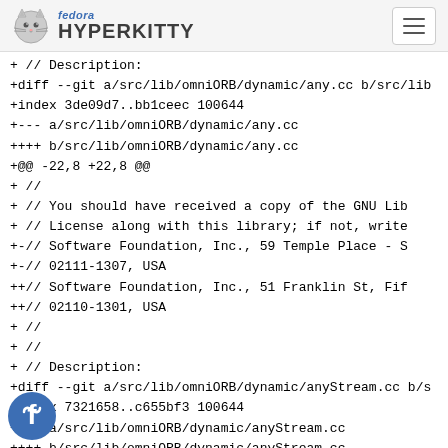fedora HYPERKITTY
+ // Description:
+diff --git a/src/lib/omniORB/dynamic/any.cc b/src/lib/
+index 3de09d7..bb1ceec 100644
+--- a/src/lib/omniORB/dynamic/any.cc
++++ b/src/lib/omniORB/dynamic/any.cc
+@@ -22,8 +22,8 @@
+ //
+ //    You should have received a copy of the GNU Lib
+ //    License along with this library; if not, write
+-//    Software Foundation, Inc., 59 Temple Place - S
+-//    02111-1307, USA
++//    Software Foundation, Inc., 51 Franklin St, Fif
++//    02110-1301, USA
+ //
+ //
+ // Description:
+diff --git a/src/lib/omniORB/dynamic/anyStream.cc b/s
+index 7321658..c655bf3 100644
+--- a/src/lib/omniORB/dynamic/anyStream.cc
++++ b/src/lib/omniORB/dynamic/anyStream.cc